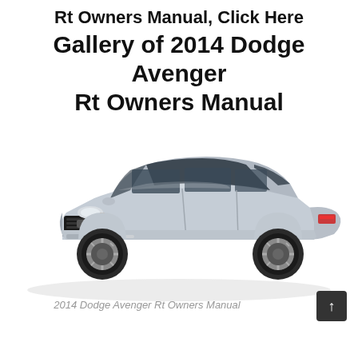Rt Owners Manual, Click Here Gallery of 2014 Dodge Avenger Rt Owners Manual
[Figure (photo): Silver 2014 Dodge Avenger R/T sedan shown from a front three-quarter angle on a white background.]
2014 Dodge Avenger Rt Owners Manual